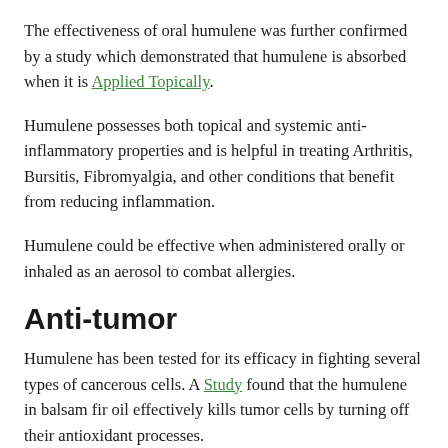The effectiveness of oral humulene was further confirmed by a study which demonstrated that humulene is absorbed when it is Applied Topically.
Humulene possesses both topical and systemic anti-inflammatory properties and is helpful in treating Arthritis, Bursitis, Fibromyalgia, and other conditions that benefit from reducing inflammation.
Humulene could be effective when administered orally or inhaled as an aerosol to combat allergies.
Anti-tumor
Humulene has been tested for its efficacy in fighting several types of cancerous cells. A Study found that the humulene in balsam fir oil effectively kills tumor cells by turning off their antioxidant processes.